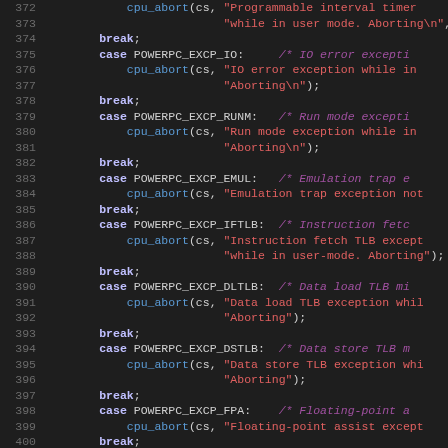[Figure (screenshot): Source code listing showing C switch-case statements handling PowerPC exception types, lines 372-403. Dark background IDE/editor view with syntax highlighting: keywords in bold blue/purple, strings in red, comments in purple italic, function calls in blue.]